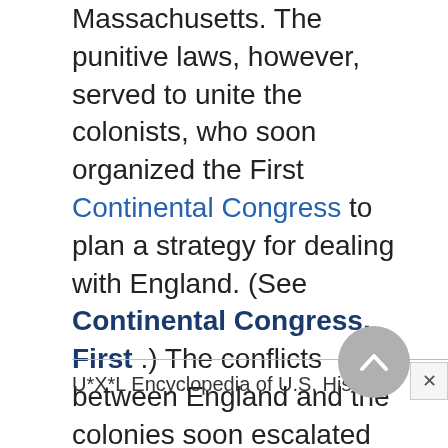Massachusetts. The punitive laws, however, served to unite the colonists, who soon organized the First Continental Congress to plan a strategy for dealing with England. (See Continental Congress, First .) The conflicts between England and the colonies soon escalated into violence and the American Revolution (1775–83).
U*X*L Encyclopedia of U.S. History